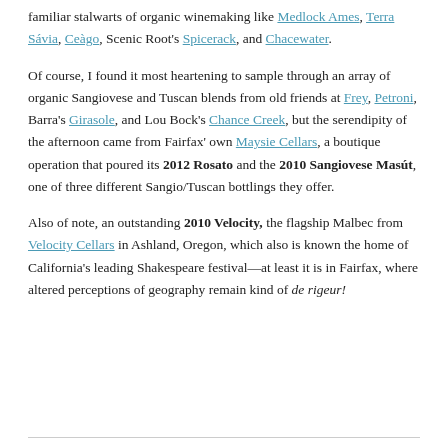familiar stalwarts of organic winemaking like Medlock Ames, Terra Sávia, Ceàgo, Scenic Root's Spicerack, and Chacewater.
Of course, I found it most heartening to sample through an array of organic Sangiovese and Tuscan blends from old friends at Frey, Petroni, Barra's Girasole, and Lou Bock's Chance Creek, but the serendipity of the afternoon came from Fairfax' own Maysie Cellars, a boutique operation that poured its 2012 Rosato and the 2010 Sangiovese Masút, one of three different Sangio/Tuscan bottlings they offer.
Also of note, an outstanding 2010 Velocity, the flagship Malbec from Velocity Cellars in Ashland, Oregon, which also is known the home of California's leading Shakespeare festival—at least it is in Fairfax, where altered perceptions of geography remain kind of de rigeur!